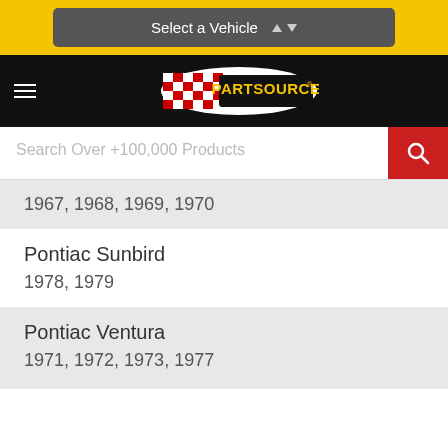Select a Vehicle
[Figure (logo): PartSource logo with checkered flag on black navigation bar]
Search Over +100,000 Products
1967, 1968, 1969, 1970
Pontiac Sunbird
1978, 1979
Pontiac Ventura
1971, 1972, 1973, 1977